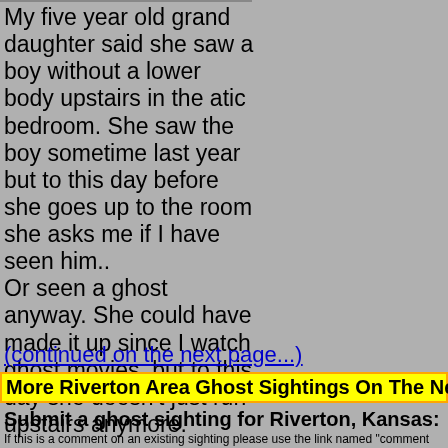My five year old grand daughter said she saw a boy without a lower body upstairs in the atic bedroom. She saw the boy sometime last year but to this day before she goes up to the room she asks me if I have seen him.. Or seen a ghost anyway. She could have made it up since I watch ghost movies, but to this day she doesn't just run upstairs anymore.
(continued on the next page...)
More Riverton Area Ghost Sightings On The Next Page >
Submit a ghost sighting for Riverton, Kansas:
If this is a comment on an existing sighting please use the link named "comment on t sighting.
Your Name:
Write or Paste Input here: